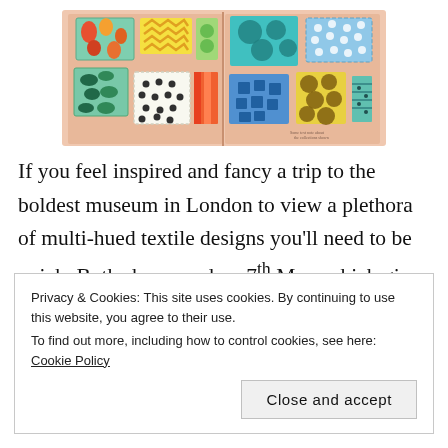[Figure (illustration): Open book showing colorful fabric/textile swatches with various patterns (dots, circles, zigzags, stripes) arranged across two pages on a pink/salmon background.]
If you feel inspired and fancy a trip to the boldest museum in London to view a plethora of multi-hued textile designs you'll need to be quick. Both shows end on 7th May, which gives your precisely 9.5 days to get
Privacy & Cookies: This site uses cookies. By continuing to use this website, you agree to their use.
To find out more, including how to control cookies, see here: Cookie Policy
Close and accept